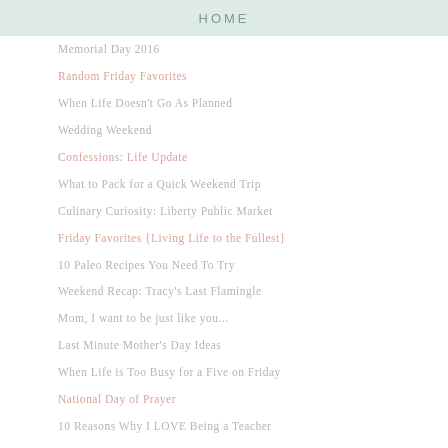HOME
Memorial Day 2016
Random Friday Favorites
When Life Doesn't Go As Planned
Wedding Weekend
Confessions: Life Update
What to Pack for a Quick Weekend Trip
Culinary Curiosity: Liberty Public Market
Friday Favorites {Living Life to the Fullest}
10 Paleo Recipes You Need To Try
Weekend Recap: Tracy's Last Flamingle
Mom, I want to be just like you...
Last Minute Mother's Day Ideas
When Life is Too Busy for a Five on Friday
National Day of Prayer
10 Reasons Why I LOVE Being a Teacher
Flamingo Fever